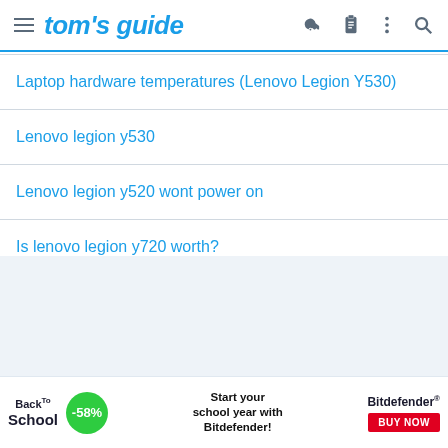tom's guide
Laptop hardware temperatures (Lenovo Legion Y530)
Lenovo legion y530
Lenovo legion y520 wont power on
Is lenovo legion y720 worth?
[Figure (infographic): Back to School advertisement banner for Bitdefender with -58% discount badge and BUY NOW button]